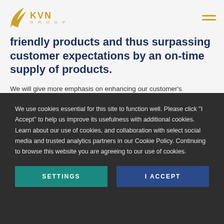KVN GROUP
friendly products and thus surpassing customer expectations by an on-time supply of products.
We will give more emphasis on enhancing our customer's satisfaction and the services offered to them. Besides, we strive to maintain profitability, thus ensuring our company's long term success. Moreover,
We use cookies essential for this site to function well. Please click "I Accept" to help us improve its usefulness with additional cookies. Learn about our use of cookies, and collaboration with select social media and trusted analytics partners in our Cookie Policy. Continuing to browse this website you are agreeing to our use of cookies.
SETTINGS
I ACCEPT